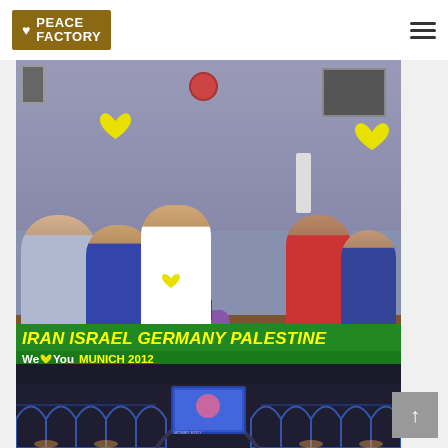PEACE FACTORY
[Figure (photo): Group photo of people from Iran, Israel, Germany, and Palestine sitting around a dinner table in Munich 2012, holding up yellow heart signs. Green banner overlay reads 'IRAN ISRAEL GERMANY PALESTINE' with 'We♥You MUNICH 2012' below.]
[Figure (photo): Interior of a large arched building/venue lit with blue lighting at night, with a display screen visible showing an image.]